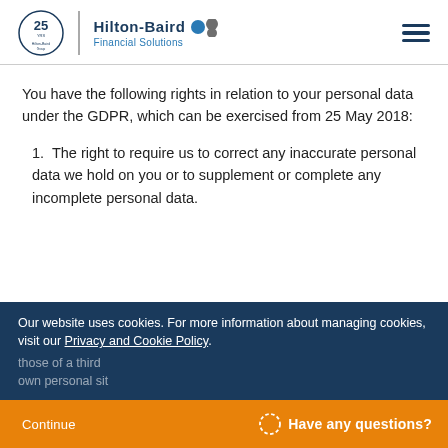Hilton-Baird Financial Solutions
You have the following rights in relation to your personal data under the GDPR, which can be exercised from 25 May 2018:
1. The right to require us to correct any inaccurate personal data we hold on you or to supplement or complete any incomplete personal data.
Our website uses cookies. For more information about managing cookies, visit our Privacy and Cookie Policy.
those of a third own personal sit
Continue   Have any questions?